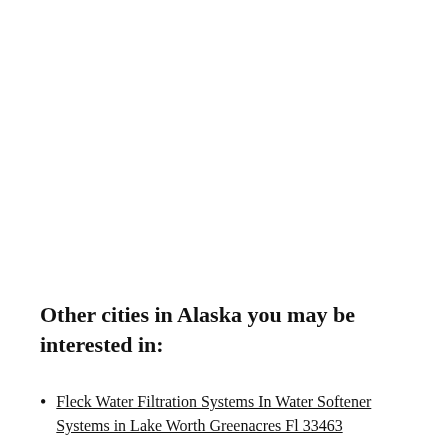Other cities in Alaska you may be interested in:
Fleck Water Filtration Systems In Water Softener Systems in Lake Worth Greenacres Fl 33463